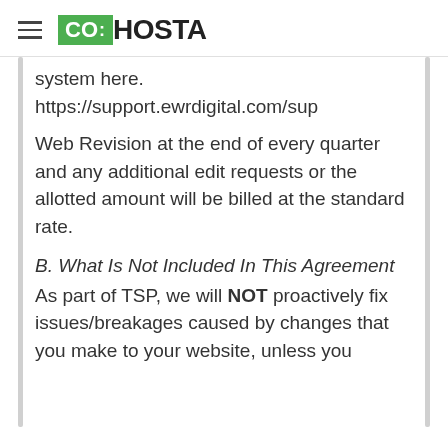CO:HOSTA
system here.
https://support.ewrdigital.com/sup
Web Revision at the end of every quarter and any additional edit requests or the allotted amount will be billed at the standard rate.
B. What Is Not Included In This Agreement
As part of TSP, we will NOT proactively fix issues/breakages caused by changes that you make to your website, unless you